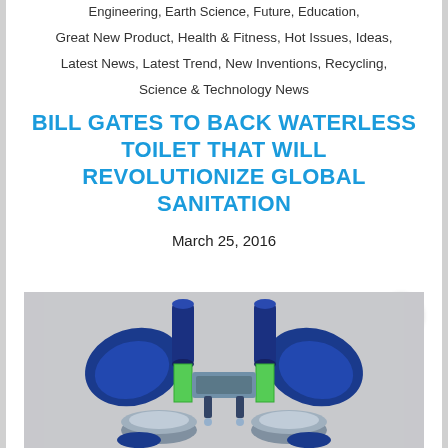Engineering, Earth Science, Future, Education,
Great New Product, Health & Fitness, Hot Issues, Ideas,
Latest News, Latest Trend, New Inventions, Recycling,
Science & Technology News
BILL GATES TO BACK WATERLESS TOILET THAT WILL REVOLUTIONIZE GLOBAL SANITATION
March 25, 2016
[Figure (photo): 3D rendering of a waterless toilet mechanism showing two symmetric blue and green components with cylindrical parts, viewed from front, on grey background]